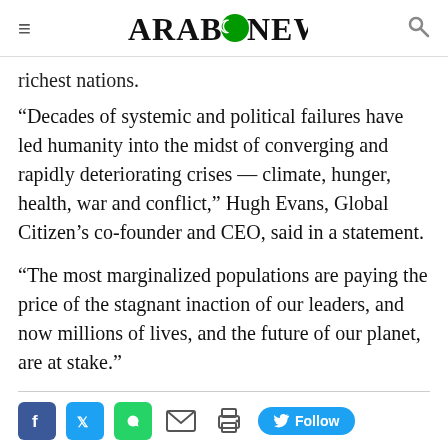ARAB NEWS
richest nations.
“Decades of systemic and political failures have led humanity into the midst of converging and rapidly deteriorating crises — climate, hunger, health, war and conflict,” Hugh Evans, Global Citizen’s co-founder and CEO, said in a statement.
“The most marginalized populations are paying the price of the stagnant inaction of our leaders, and now millions of lives, and the future of our planet, are at stake.”